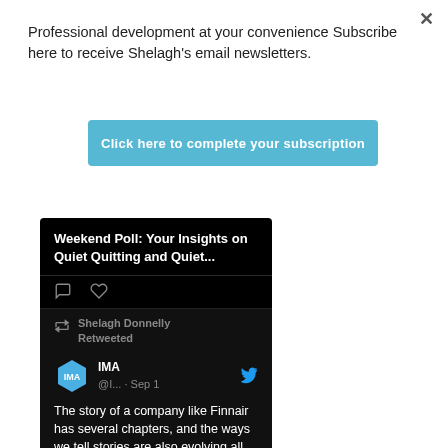Professional development at your convenience Subscribe here to receive Shelagh's email newsletters.
Click here to complete your subscription
[Figure (screenshot): A dark-themed Twitter/social media card showing 'Weekend Poll: Your Insights on Quiet Quitting and Quiet...' with comment and like icons, then a retweet by Shelagh Donnelly showing an IMA tweet from Sep 1: 'The story of a company like Finnair has several chapters, and the ways we tell stories are also evolving all the time. We are']